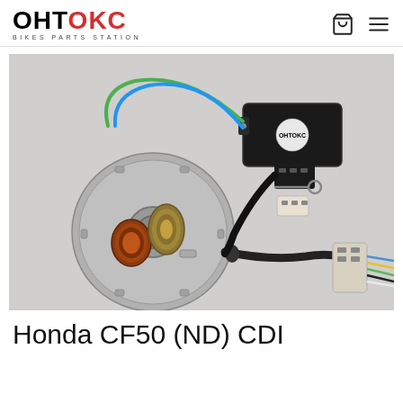OHTOKC BIKES PARTS STATION
[Figure (photo): Product photo showing a Honda CF50 CDI ignition kit including a stator plate with copper and gold coils, a black CDI unit with OHTOKC branding, and associated wiring connectors, laid out on a grey concrete surface.]
Honda CF50 (ND) CDI